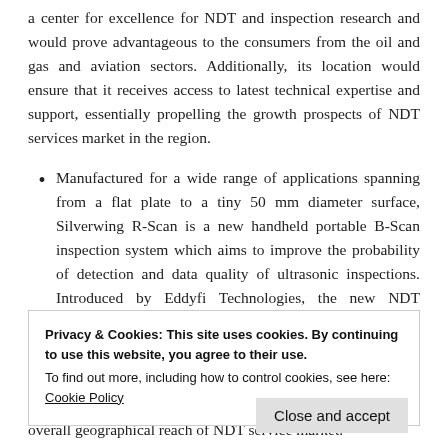a center for excellence for NDT and inspection research and would prove advantageous to the consumers from the oil and gas and aviation sectors. Additionally, its location would ensure that it receives access to latest technical expertise and support, essentially propelling the growth prospects of NDT services market in the region.
Manufactured for a wide range of applications spanning from a flat plate to a tiny 50 mm diameter surface, Silverwing R-Scan is a new handheld portable B-Scan inspection system which aims to improve the probability of detection and data quality of ultrasonic inspections. Introduced by Eddyfi Technologies, the new NDT solution can be used to complete tank inspections
Privacy & Cookies: This site uses cookies. By continuing to use this website, you agree to their use.
To find out more, including how to control cookies, see here: Cookie Policy
Close and accept
overall geographical reach of NDT service market.